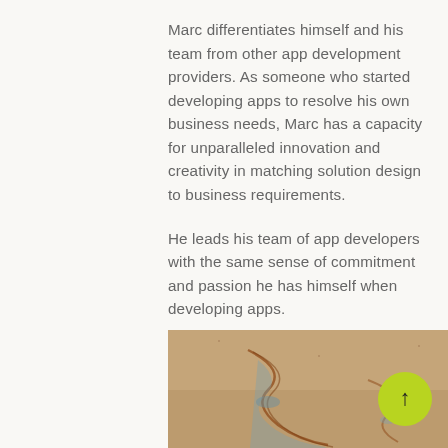Marc differentiates himself and his team from other app development providers. As someone who started developing apps to resolve his own business needs, Marc has a capacity for unparalleled innovation and creativity in matching solution design to business requirements.
He leads his team of app developers with the same sense of commitment and passion he has himself when developing apps.
[Figure (photo): A partial photo of sandy terrain with winding river-like markings visible at the bottom of the page.]